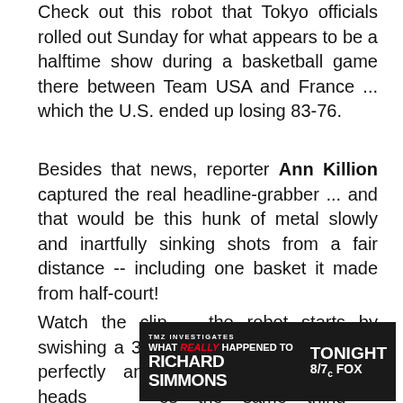Check out this robot that Tokyo officials rolled out Sunday for what appears to be a halftime show during a basketball game there between Team USA and France ... which the U.S. ended up losing 83-76.
Besides that news, reporter Ann Killion captured the real headline-grabber ... and that would be this hunk of metal slowly and inartfully sinking shots from a fair distance -- including one basket it made from half-court!
Watch the clip ... the robot starts by swishing a 3-pointer, this after lining it up perfectly and eventually launching it, it heads the same thing -- picking the ball up by itself, and then
[Figure (screenshot): TMZ Investigates advertisement banner: 'WHAT REALLY HAPPENED TO RICHARD SIMMONS' TONIGHT 8/7c FOX]